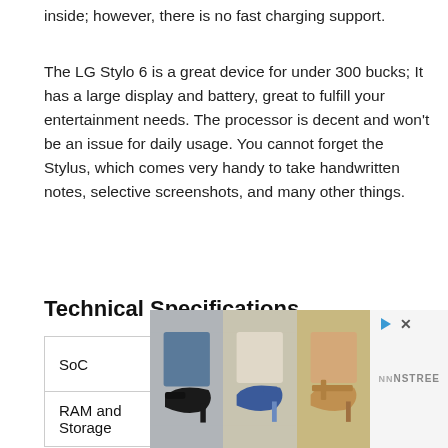inside; however, there is no fast charging support.
The LG Stylo 6 is a great device for under 300 bucks; It has a large display and battery, great to fulfill your entertainment needs. The processor is decent and won't be an issue for daily usage. You cannot forget the Stylus, which comes very handy to take handwritten notes, selective screenshots, and many other things.
Technical Specifications
| SoC | RAM and Storage |
| --- | --- |
| SoC | Mediatek MT6765 Helio P35 (12nm) |
| RAM and
Storage | 3GB RAM + 64GB |
[Figure (photo): Advertisement showing three pairs of high-heel shoes with a NNSTREE brand logo and play/close icons in the top right corner.]